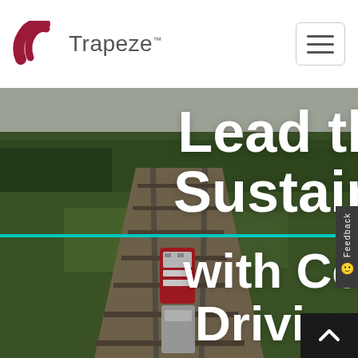Trapeze™ navigation bar with hamburger menu
[Figure (photo): Aerial view of railway tracks through green forested landscape with a red train visible, overlaid with bold white text 'Lead the Way in Sustainable Rail with Connected Driving Advice Systems (C-DAS)']
Lead the Way in Sustainable Rail with Connected Driving Advice Systems (C-DAS)